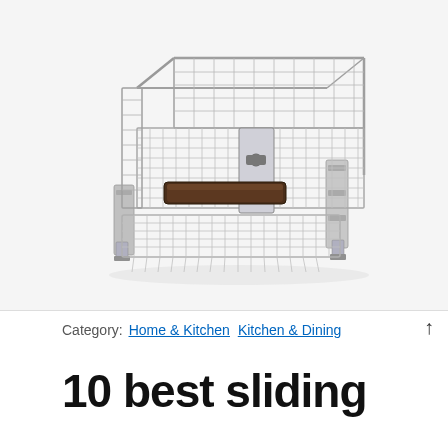[Figure (photo): Chrome wire sliding pull-out basket/drawer with dark brown wooden handle and metal slide rails, photographed on white background]
Category:  Home & Kitchen  Kitchen & Dining  ↑
10 best sliding